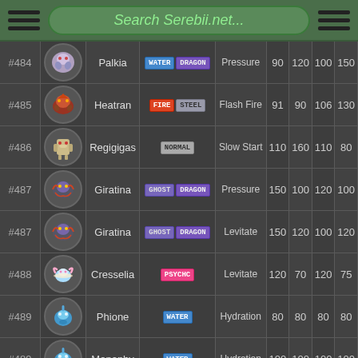Search Serebii.net...
| # | Sprite | Name | Type | Ability | HP | Atk | Def | SpA |
| --- | --- | --- | --- | --- | --- | --- | --- | --- |
| #484 |  | Palkia | WATER DRAGON | Pressure | 90 | 120 | 100 | 150 |
| #485 |  | Heatran | FIRE STEEL | Flash Fire | 91 | 90 | 106 | 130 |
| #486 |  | Regigigas | NORMAL | Slow Start | 110 | 160 | 110 | 80 |
| #487 |  | Giratina | GHOST DRAGON | Pressure | 150 | 100 | 120 | 100 |
| #487 |  | Giratina | GHOST DRAGON | Levitate | 150 | 120 | 100 | 120 |
| #488 |  | Cresselia | PSYCHIC | Levitate | 120 | 70 | 120 | 75 |
| #489 |  | Phione | WATER | Hydration | 80 | 80 | 80 | 80 |
| #489 |  | Manaphy | WATER | Hydration | 100 | 100 | 100 | 100 |